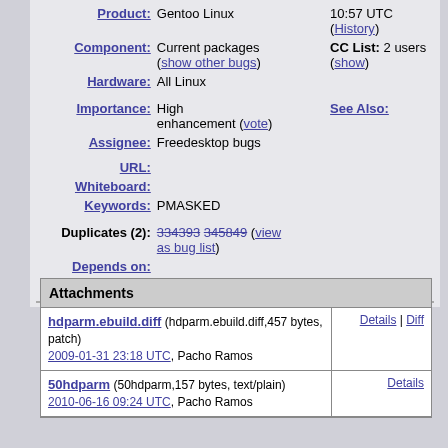| Product: | Gentoo Linux | 10:57 UTC (History) |
| Component: | Current packages (show other bugs) | CC List: 2 users (show) |
| Hardware: | All Linux |  |
| Importance: | High enhancement (vote) | See Also: |
| Assignee: | Freedesktop bugs |  |
| URL: |  |  |
| Whiteboard: |  |  |
| Keywords: | PMASKED |  |
| Duplicates (2): | 334393 345849 (view as bug list) |  |
| Depends on: |  |  |
| Blocks: |  |  |
| Attachments |
| --- |
| hdparm.ebuild.diff (hdparm.ebuild.diff,457 bytes, patch)
2009-01-31 23:18 UTC, Pacho Ramos | Details | Diff |
| 50hdparm (50hdparm,157 bytes, text/plain)
2010-06-16 09:24 UTC, Pacho Ramos | Details |